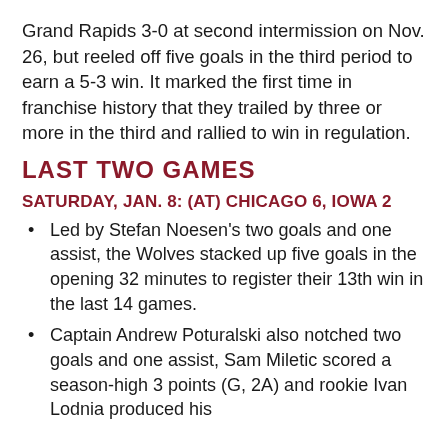Grand Rapids 3-0 at second intermission on Nov. 26, but reeled off five goals in the third period to earn a 5-3 win. It marked the first time in franchise history that they trailed by three or more in the third and rallied to win in regulation.
LAST TWO GAMES
SATURDAY, JAN. 8: (AT) CHICAGO 6, IOWA 2
Led by Stefan Noesen's two goals and one assist, the Wolves stacked up five goals in the opening 32 minutes to register their 13th win in the last 14 games.
Captain Andrew Poturalski also notched two goals and one assist, Sam Miletic scored a season-high 3 points (G, 2A) and rookie Ivan Lodnia produced his